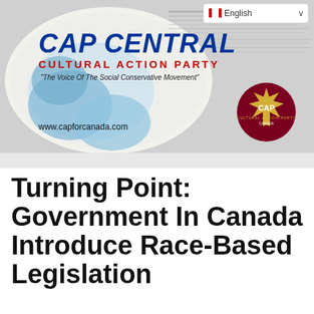[Figure (logo): CAP Central - Cultural Action Party website header banner with newspaper background, Canadian maple leaf logo badge, English language selector, and URL www.capforcanada.com]
Turning Point: Government In Canada Introduce Race-Based Legislation